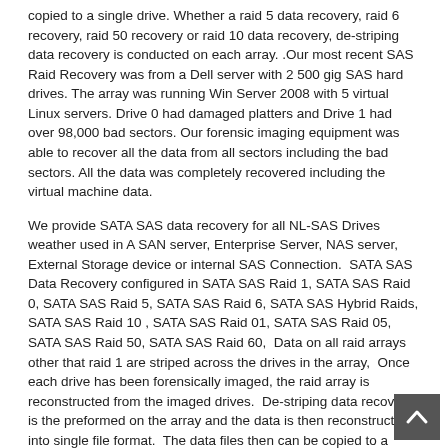copied to a single drive. Whether a raid 5 data recovery, raid 6 recovery, raid 50 recovery or raid 10 data recovery, de-striping data recovery is conducted on each array. .Our most recent SAS Raid Recovery was from a Dell server with 2 500 gig SAS hard drives. The array was running Win Server 2008 with 5 virtual Linux servers. Drive 0 had damaged platters and Drive 1 had over 98,000 bad sectors. Our forensic imaging equipment was able to recover all the data from all sectors including the bad sectors. All the data was completely recovered including the virtual machine data.
We provide SATA SAS data recovery for all NL-SAS Drives weather used in A SAN server, Enterprise Server, NAS server, External Storage device or internal SAS Connection.  SATA SAS Data Recovery configured in SATA SAS Raid 1, SATA SAS Raid 0, SATA SAS Raid 5, SATA SAS Raid 6, SATA SAS Hybrid Raids, SATA SAS Raid 10 , SATA SAS Raid 01, SATA SAS Raid 05, SATA SAS Raid 50, SATA SAS Raid 60,  Data on all raid arrays other that raid 1 are striped across the drives in the array,  Once each drive has been forensically imaged, the raid array is reconstructed from the imaged drives.  De-striping data recovery is the preformed on the array and the data is then reconstructed into single file format.  The data files then can be copied to a single drive. Whether a raid 5 data recovery, raid 6 recovery, raid 50 recovery or raid 10 data recovery, de-striping data recovery is conducted on each array.